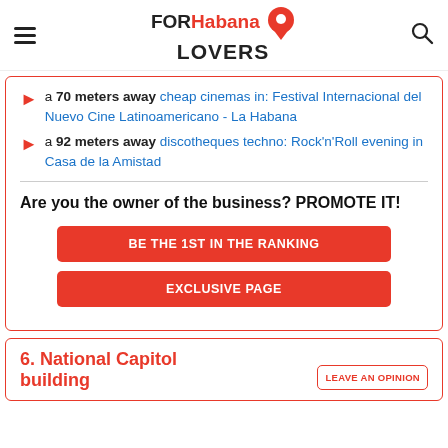FORHabana LOVERS
a 70 meters away cheap cinemas in: Festival Internacional del Nuevo Cine Latinoamericano - La Habana
a 92 meters away discotheques techno: Rock'n'Roll evening in Casa de la Amistad
Are you the owner of the business? PROMOTE IT!
BE THE 1ST IN THE RANKING
EXCLUSIVE PAGE
6. National Capitol building
LEAVE AN OPINION